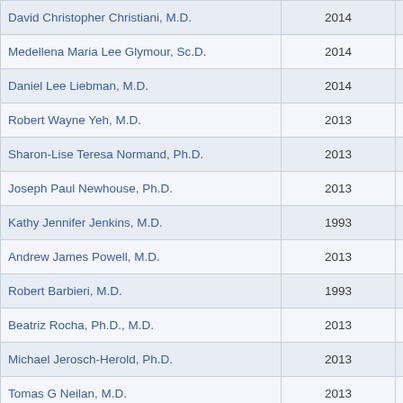| Name | Year |  |
| --- | --- | --- |
| David Christopher Christiani, M.D. | 2014 |  |
| Medellena Maria Lee Glymour, Sc.D. | 2014 |  |
| Daniel Lee Liebman, M.D. | 2014 |  |
| Robert Wayne Yeh, M.D. | 2013 |  |
| Sharon-Lise Teresa Normand, Ph.D. | 2013 |  |
| Joseph Paul Newhouse, Ph.D. | 2013 |  |
| Kathy Jennifer Jenkins, M.D. | 1993 |  |
| Andrew James Powell, M.D. | 2013 |  |
| Robert Barbieri, M.D. | 1993 |  |
| Beatriz Rocha, Ph.D., M.D. | 2013 |  |
| Michael Jerosch-Herold, Ph.D. | 2013 |  |
| Tomas G Neilan, M.D. | 2013 |  |
| Daniel Edwin Singer, M.D. | 2013 |  |
| James O'Connell, M.D. | 2013 |  |
| Erin Janelle Stringfellow, Ph.D. | Return to Top |  |
| Louise Isabel Schneider, M.D. | 2013 |  |